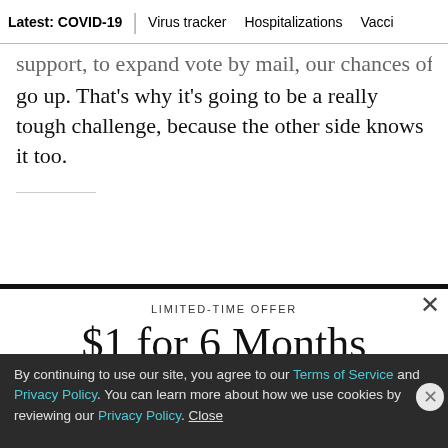Latest: COVID-19  |  Virus tracker  Hospitalizations  Vacci
support, to expand vote by mail, our chances of winning go up. That's why it's going to be a really tough challenge, because the other side knows it too.
LIMITED-TIME OFFER
$1 for 6 Months
SUBSCRIBE NOW
By continuing to use our site, you agree to our Terms of Service and Privacy Policy. You can learn more about how we use cookies by reviewing our Privacy Policy. Close